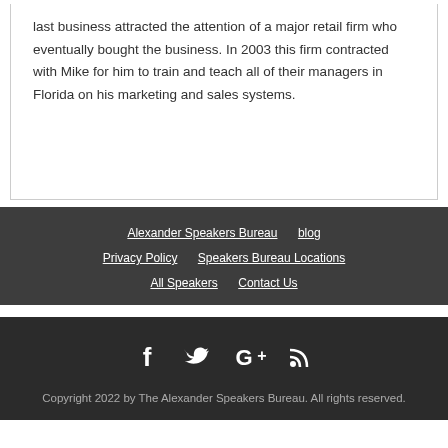last business attracted the attention of a major retail firm who eventually bought the business. In 2003 this firm contracted with Mike for him to train and teach all of their managers in Florida on his marketing and sales systems.
Alexander Speakers Bureau | blog | Privacy Policy | Speakers Bureau Locations | All Speakers | Contact Us
[Figure (other): Social media icons: Facebook, Twitter, Google+, RSS feed]
Copyright 2022 by The Alexander Speakers Bureau. All rights reserved.